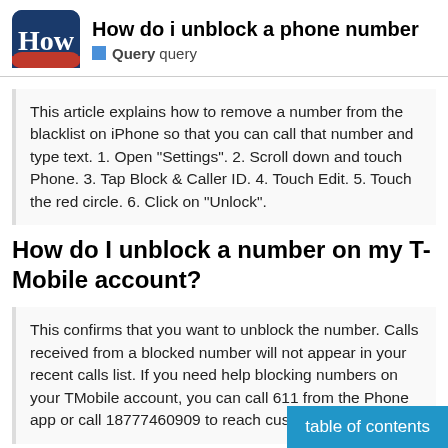How do i unblock a phone number — Query query
This article explains how to remove a number from the blacklist on iPhone so that you can call that number and type text. 1. Open "Settings". 2. Scroll down and touch Phone. 3. Tap Block & Caller ID. 4. Touch Edit. 5. Touch the red circle. 6. Click on "Unlock".
How do I unblock a number on my T-Mobile account?
This confirms that you want to unblock the number. Calls received from a blocked number will not appear in your recent calls list. If you need help blocking numbers on your TMobile account, you can call 611 from the Phone app or call 18777460909 to reach customer service.